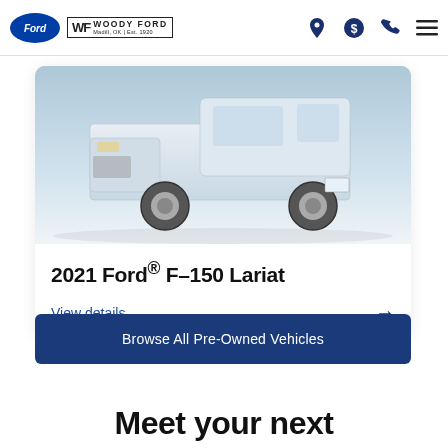Woody Ford | Madill, OK | Est. 1920
[Figure (photo): Photo of a white 2021 Ford F-150 Lariat pickup truck, showing the front and side, parked indoors with a light blue/grey background.]
2021 Ford® F–150 Lariat
View details →
Browse All Pre-Owned Vehicles
Meet your next...